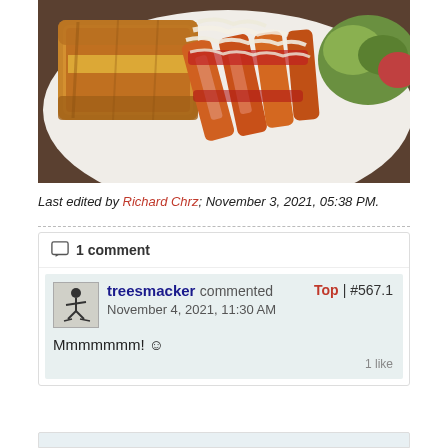[Figure (photo): Photo of a restaurant plate showing sliced grilled chicken with red sauce and shaved cheese, alongside a toasted grilled cheese sandwich and a side salad with lettuce and vegetables, served on a white plate on a wooden table.]
Last edited by Richard Chrz; November 3, 2021, 05:38 PM.
1 comment
treesmacker commented
November 4, 2021, 11:30 AM
Mmmmmmm! ☺
1 like
Top | #567.1